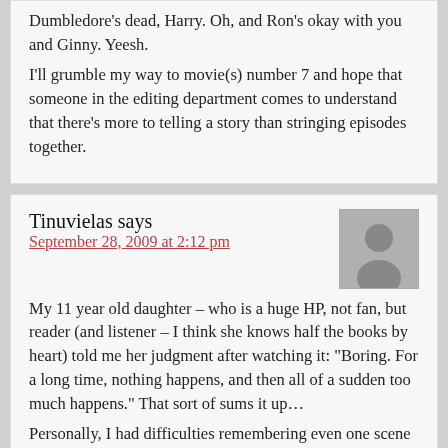Dumbledore's dead, Harry. Oh, and Ron's okay with you and Ginny. Yeesh.
I'll grumble my way to movie(s) number 7 and hope that someone in the editing department comes to understand that there's more to telling a story than stringing episodes together.
Tinuvielas says
September 28, 2009 at 2:12 pm
My 11 year old daughter – who is a huge HP, not fan, but reader (and listener – I think she knows half the books by heart) told me her judgment after watching it: "Boring. For a long time, nothing happens, and then all of a sudden too much happens." That sort of sums it up…
Personally, I had difficulties remembering even one scene after watching HBP, either positive of negative, which is a problem since I have to do a public discussion on it this weekend…
Somehow it just rolled along, a nice-ish illustration of the book, with a very disappointing ending – especially the out-of-character